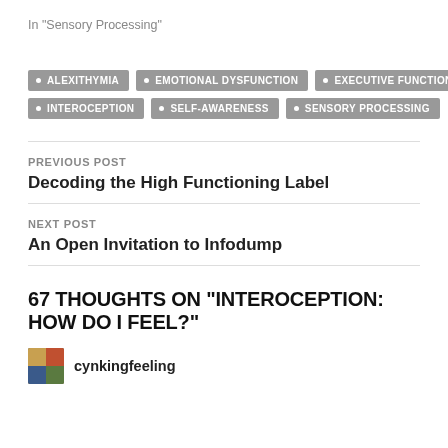In "Sensory Processing"
ALEXITHYMIA
EMOTIONAL DYSFUNCTION
EXECUTIVE FUNCTION
INTEROCEPTION
SELF-AWARENESS
SENSORY PROCESSING
PREVIOUS POST
Decoding the High Functioning Label
NEXT POST
An Open Invitation to Infodump
67 THOUGHTS ON "INTEROCEPTION: HOW DO I FEEL?"
cynkingfeeling